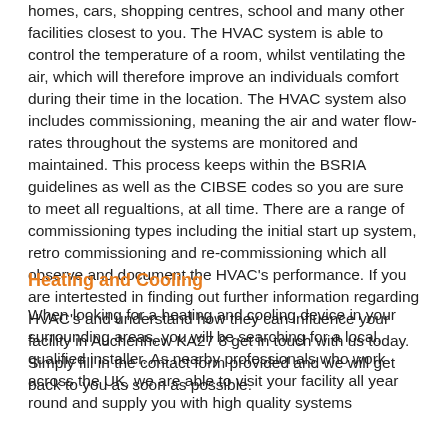homes, cars, shopping centres, school and many other facilities closest to you. The HVAC system is able to control the temperature of a room, whilst ventilating the air, which will therefore improve an individuals comfort during their time in the location. The HVAC system also includes commissioning, meaning the air and water flow-rates throughout the systems are monitored and maintained. This process keeps within the BSRIA guidelines as well as the CIBSE codes so you are sure to meet all regualtions, at all time. There are a range of commissioning types including the initial start up system, retro commissioning and re-commissioning which all observe and document the HVAC's performance. If you are intertested in finding out further information regarding HVAC's and understand how they can influence your facility in Auchenhew KA27 8 get in touch with us today. Simply fill in the contact form provided and we will get back to you as soon as possible.
Heating and Cooling
When looking for a heating and cooling device in your surrounding areas, you will be searching for a local, qualified installer. As nearby professionals who work across the UK, we are able to visit your facility all year round and supply you with high quality systems